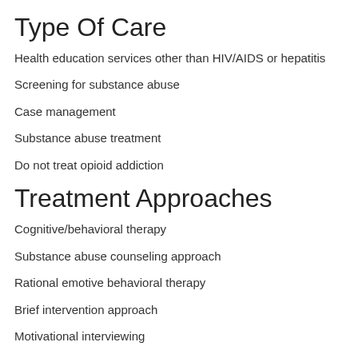Type Of Care
Health education services other than HIV/AIDS or hepatitis
Screening for substance abuse
Case management
Substance abuse treatment
Do not treat opioid addiction
Treatment Approaches
Cognitive/behavioral therapy
Substance abuse counseling approach
Rational emotive behavioral therapy
Brief intervention approach
Motivational interviewing
Addiction Hotline 866-716-0142
Service Setting (e.g., Outpatient,